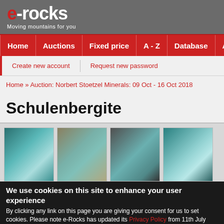e-rocks — Moving mountains for you
Home | Auctions | Fixed price | A - Z | Database | About
Create new account | Request new password
Home » Auction: Norbert Stoetzel Minerals: 09 Oct - 16 Oct 2018
Schulenbergite
[Figure (photo): Four photos of Schulenbergite mineral specimens showing blue-green crystalline formations on rock matrix]
We use cookies on this site to enhance your user experience
By clicking any link on this page you are giving your consent for us to set cookies. Please note e-Rocks has updated its Privacy Policy from 11th July 2015 No, give me more info